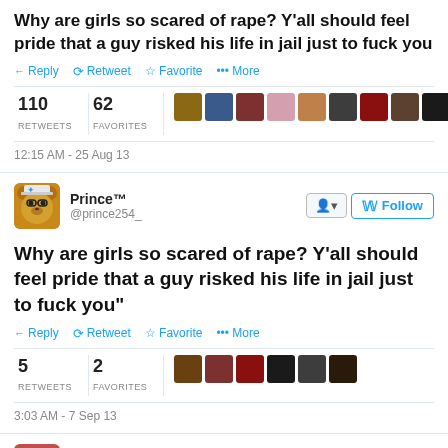Why are girls so scared of rape? Y'all should feel pride that a guy risked his life in jail just to fuck you
Reply Retweet Favorite More
110 RETWEETS 62 FAVORITES
12:15 AM - 25 Aug 13
[Figure (screenshot): Prince TM @prince254_ profile with follow button]
Why are girls so scared of rape? Y'all should feel pride that a guy risked his life in jail just to fuck you"
Reply Retweet Favorite More
5 RETWEETS 2 FAVORITES
3:03 AM - 7 Sep 13
[Figure (screenshot): Miley Jane Holland profile with follow button]